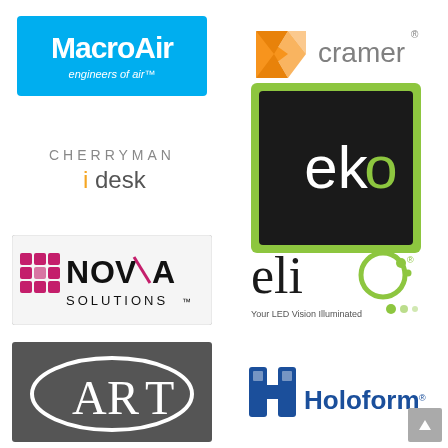[Figure (logo): MacroAir logo - white text on cyan/sky-blue background with tagline 'engineers of air']
[Figure (logo): Cramer logo - orange triangular arrow shape with 'cramer' in gray text]
[Figure (logo): Cherryman iDesk logo - gray thin caps 'CHERRYMAN' above 'idesk' with orange 'i']
[Figure (logo): eko logo - white and green text on dark/black background with lime green border square]
[Figure (logo): Nova Solutions logo - pink/red mosaic cube icon with black 'NOVA SOLUTIONS' text]
[Figure (logo): elio logo - black text 'elio' with green circle/dot motif and tagline 'Your LED Vision Illuminated']
[Figure (logo): ART logo - stylized white ART letters in oval on dark gray background]
[Figure (logo): Holoform logo - blue building/H icon with 'Holoform' in blue text]